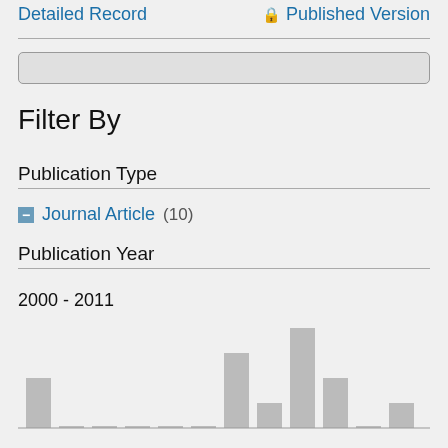Detailed Record
🔒 Published Version
Filter By
Publication Type
Journal Article (10)
Publication Year
2000 - 2011
[Figure (bar-chart): Publication Year Distribution]